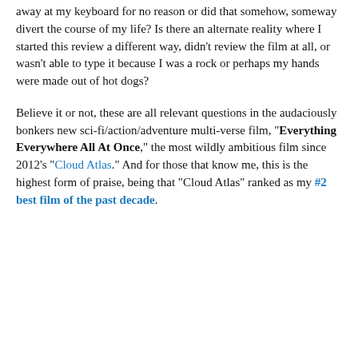away at my keyboard for no reason or did that somehow, someway divert the course of my life? Is there an alternate reality where I started this review a different way, didn't review the film at all, or wasn't able to type it because I was a rock or perhaps my hands were made out of hot dogs?
Believe it or not, these are all relevant questions in the audaciously bonkers new sci-fi/action/adventure multi-verse film, "Everything Everywhere All At Once," the most wildly ambitious film since 2012's "Cloud Atlas." And for those that know me, this is the highest form of praise, being that "Cloud Atlas" ranked as my #2 best film of the past decade.